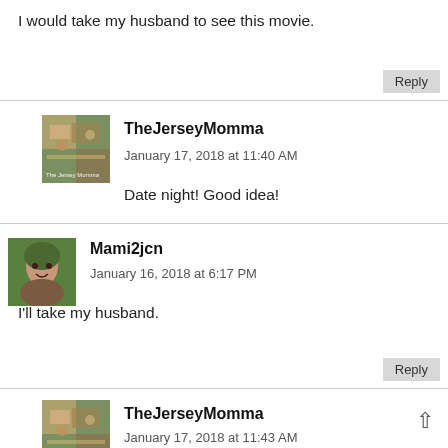I would take my husband to see this movie.
Reply
TheJerseyMomma
January 17, 2018 at 11:40 AM
Date night! Good idea!
Mami2jcn
January 16, 2018 at 6:17 PM
I'll take my husband.
Reply
TheJerseyMomma
January 17, 2018 at 11:43 AM